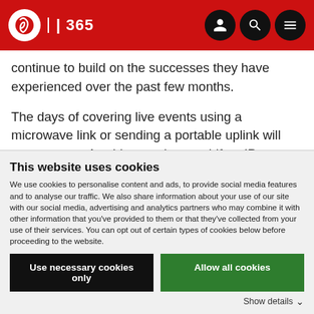IBC 365
continue to build on the successes they have experienced over the past few months.
The days of covering live events using a microwave link or sending a portable uplink will never return. As video producers shift to IP production, they are moving away from bulky, expensive hardware to more flexible software,
This website uses cookies
We use cookies to personalise content and ads, to provide social media features and to analyse our traffic. We also share information about your use of our site with our social media, advertising and analytics partners who may combine it with other information that you've provided to them or that they've collected from your use of their services. You can opt out of certain types of cookies below before proceeding to the website.
Use necessary cookies only | Allow all cookies
Show details